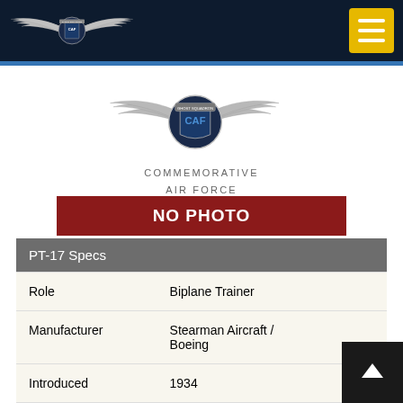CAF - Commemorative Air Force (nav bar with logo and menu button)
[Figure (logo): Commemorative Air Force (CAF) eagle wing logo with shield, centered on page]
COMMEMORATIVE
AIR FORCE
[Figure (other): NO PHOTO banner - dark red rectangle with white bold text]
| PT-17 Specs |  |
| --- | --- |
| Role | Biplane Trainer |
| Manufacturer | Stearman Aircraft / Boeing |
| Introduced | 1934 |
| Power | 1 × Continental R-670-5 seven-cylinder air- |